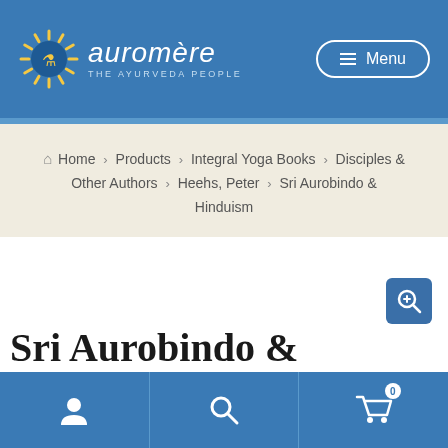[Figure (logo): Auromere - The Ayurveda People logo with sunflower icon and text]
Menu
Home > Products > Integral Yoga Books > Disciples & Other Authors > Heehs, Peter > Sri Aurobindo & Hinduism
Sri Aurobindo & Hinduism
[Figure (other): Zoom/magnify icon button (blue square with magnifying glass)]
Navigation footer with user account, search, and cart (0) icons